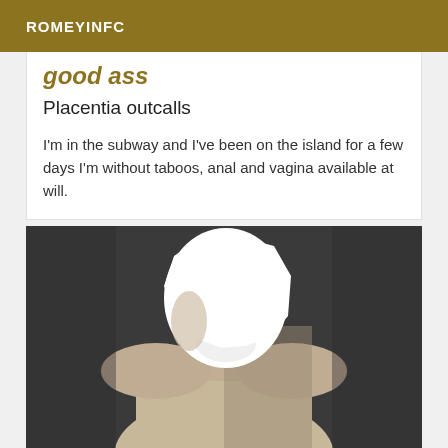ROMEYINFC
good ass
Placentia outcalls
I'm in the subway and I've been on the island for a few days I'm without taboos, anal and vagina available at will.
[Figure (photo): Black and white photo of a person from the shoulders up, face obscured by a large white overexposed area, shirtless, dark background.]